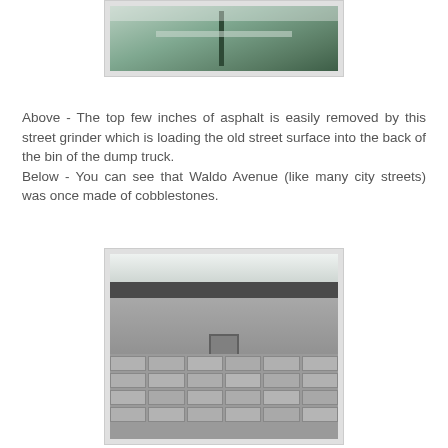[Figure (photo): Aerial or overhead view of a street grinder machine working on a road surface, loading asphalt into a dump truck]
Above - The top few inches of asphalt is easily removed by this street grinder which is loading the old street surface into the back of the bin of the dump truck.
Below - You can see that Waldo Avenue (like many city streets) was once made of cobblestones.
[Figure (photo): Close-up photo showing Waldo Avenue after asphalt removal, revealing the original cobblestone street surface underneath, with a manhole cover visible]